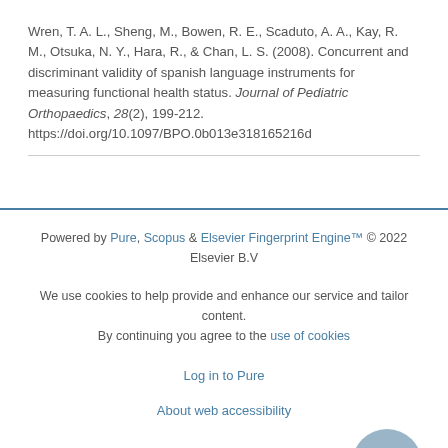Wren, T. A. L., Sheng, M., Bowen, R. E., Scaduto, A. A., Kay, R. M., Otsuka, N. Y., Hara, R., & Chan, L. S. (2008). Concurrent and discriminant validity of spanish language instruments for measuring functional health status. Journal of Pediatric Orthopaedics, 28(2), 199-212. https://doi.org/10.1097/BPO.0b013e318165216d
Powered by Pure, Scopus & Elsevier Fingerprint Engine™ © 2022 Elsevier B.V

We use cookies to help provide and enhance our service and tailor content. By continuing you agree to the use of cookies

Log in to Pure

About web accessibility